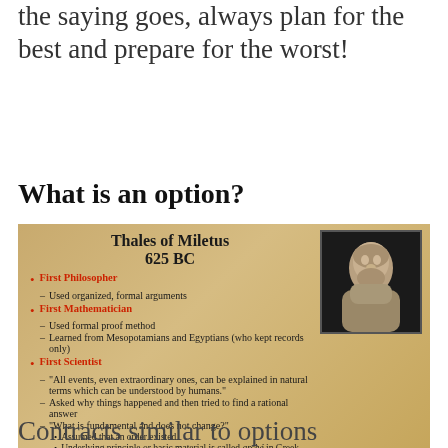the saying goes, always plan for the best and prepare for the worst!
What is an option?
[Figure (infographic): Infographic about Thales of Miletus 625 BC on a parchment background, with a stone bust portrait, listing him as First Philosopher (Used organized, formal arguments), First Mathematician (Used formal proof method; Learned from Mesopotamians and Egyptians who kept records only), First Scientist ('All events, even extraordinary ones, can be explained in natural terms which can be understood by humans.'; Asked why things happened and then tried to find a rational answer; 'What is fundamental and does not change?' with sub-bullets: Assumed that an order existed; Underlying principle or basic material is called arché in Greek)]
Contracts similar to options